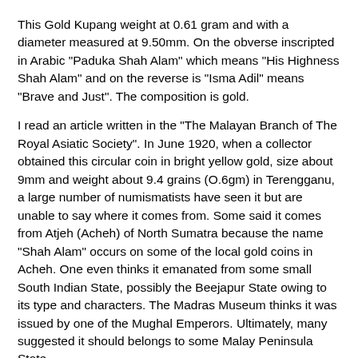This Gold Kupang weight at 0.61 gram and with a diameter measured at 9.50mm. On the obverse inscripted in Arabic "Paduka Shah Alam" which means "His Highness Shah Alam" and on the reverse is "Isma Adil" means "Brave and Just". The composition is gold.
I read an article written in the "The Malayan Branch of The Royal Asiatic Society". In June 1920, when a collector obtained this circular coin in bright yellow gold, size about 9mm and weight about 9.4 grains (O.6gm) in Terengganu, a large number of numismatists have seen it but are unable to say where it comes from. Some said it comes from Atjeh (Acheh) of North Sumatra because the name "Shah Alam" occurs on some of the local gold coins in Acheh. One even thinks it emanated from some small South Indian State, possibly the Beejapur State owing to its type and characters. The Madras Museum thinks it was issued by one of the Mughal Emperors. Ultimately, many suggested it should belongs to some Malay Peninsula State.
Obverse: In Arabic "Paduka Shah Alam" (His Highness